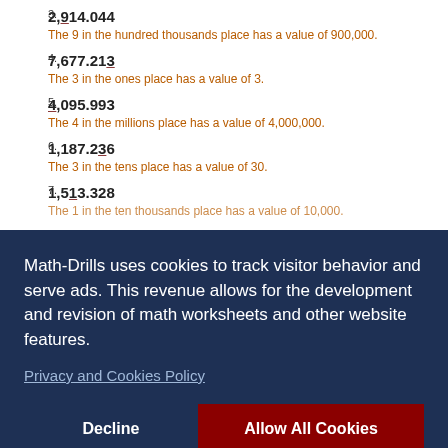3. 2,914.044 — The 9 in the hundred thousands place has a value of 900,000.
4. 7,677.213 — The 3 in the ones place has a value of 3.
5. 4,095.993 — The 4 in the millions place has a value of 4,000,000.
6. 1,187.236 — The 3 in the tens place has a value of 30.
7. 1,513.328 — The 1 in the ten thousands place has a value of 10,000.
Math-Drills uses cookies to track visitor behavior and serve ads. This revenue allows for the development and revision of math worksheets and other website features.
Privacy and Cookies Policy
Decline
Allow All Cookies